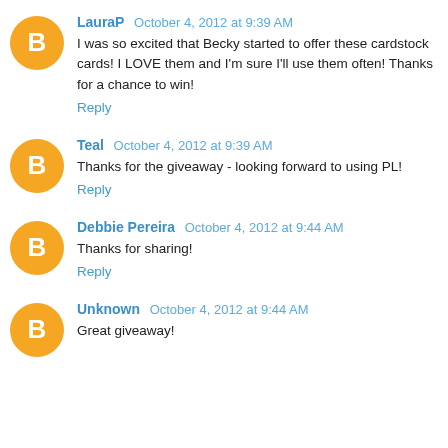LauraP October 4, 2012 at 9:39 AM
I was so excited that Becky started to offer these cardstock cards! I LOVE them and I'm sure I'll use them often! Thanks for a chance to win!
Reply
Teal October 4, 2012 at 9:39 AM
Thanks for the giveaway - looking forward to using PL!
Reply
Debbie Pereira October 4, 2012 at 9:44 AM
Thanks for sharing!
Reply
Unknown October 4, 2012 at 9:44 AM
Great giveaway!